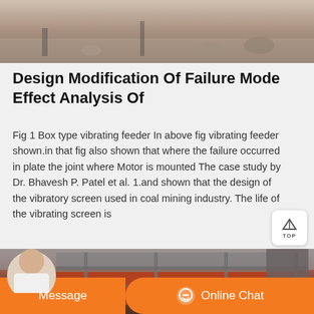[Figure (photo): Top portion of a construction/mining site photo showing workers, stones, and equipment on the ground]
Design Modification Of Failure Mode Effect Analysis Of
Fig 1 Box type vibrating feeder In above fig vibrating feeder shown.in that fig also shown that where the failure occurred in plate the joint where Motor is mounted The case study by Dr. Bhavesh P. Patel et al. 1.and shown that the design of the vibratory screen used in coal mining industry. The life of the vibrating screen is
[Figure (photo): Industrial vibrating screen machine with orange/red body, large circular wheels, metal frame structure, outdoor setting]
[Figure (other): TOP navigation button - white rounded square with up arrow and TOP label]
[Figure (other): Chat bar with Message button and Online Chat button, with customer service avatar]